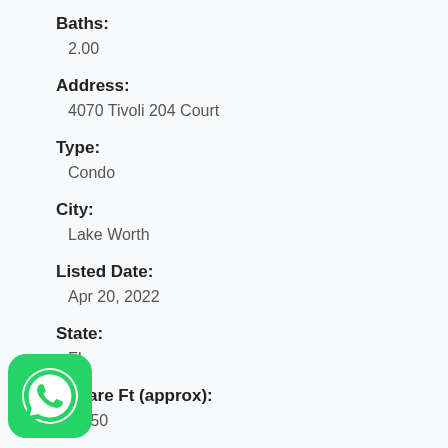Baths:
2.00
Address:
4070 Tivoli 204 Court
Type:
Condo
City:
Lake Worth
Listed Date:
Apr 20, 2022
State:
FL
Square Ft (approx):
1,050
[Figure (logo): WhatsApp green logo icon]